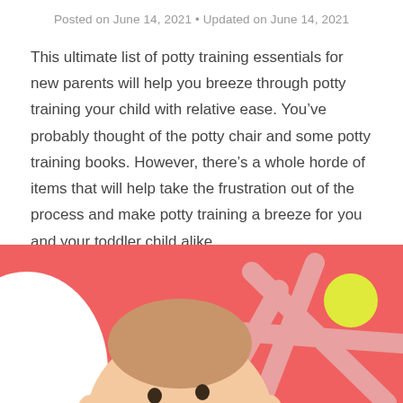Posted on June 14, 2021 • Updated on June 14, 2021
This ultimate list of potty training essentials for new parents will help you breeze through potty training your child with relative ease. You've probably thought of the potty chair and some potty training books. However, there's a whole horde of items that will help take the frustration out of the process and make potty training a breeze for you and your toddler child alike.
[Figure (photo): Baby smiling and laughing on a coral/salmon red background with decorative pink star-burst lines and a yellow circle, white oval shape on the left side.]